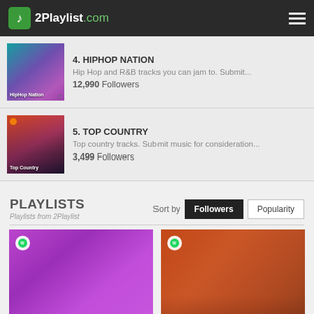2Playlist.com
4. HIPHOP NATION — Hip Hop and R&B tracks you can jam to. Submit... — 12,990 Followers
5. TOP COUNTRY — Top country tracks. Submit music for consideration... — 3,499 Followers
PLAYLISTS
Playlists from 2Playlist
[Figure (screenshot): Life Remixed playlist card with purple gradient background and woman with headphones]
[Figure (screenshot): Hot Country playlist card with orange/red desert road background]